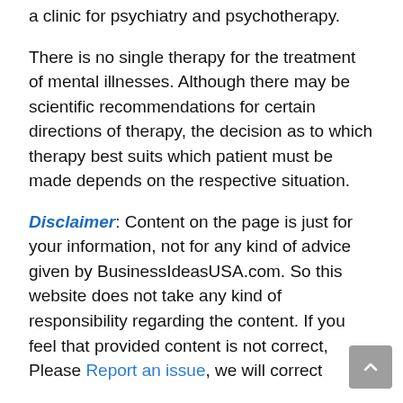a clinic for psychiatry and psychotherapy.
There is no single therapy for the treatment of mental illnesses. Although there may be scientific recommendations for certain directions of therapy, the decision as to which therapy best suits which patient must be made depends on the respective situation.
Disclaimer: Content on the page is just for your information, not for any kind of advice given by BusinessIdeasUSA.com. So this website does not take any kind of responsibility regarding the content. If you feel that provided content is not correct, Please Report an issue, we will correct it...